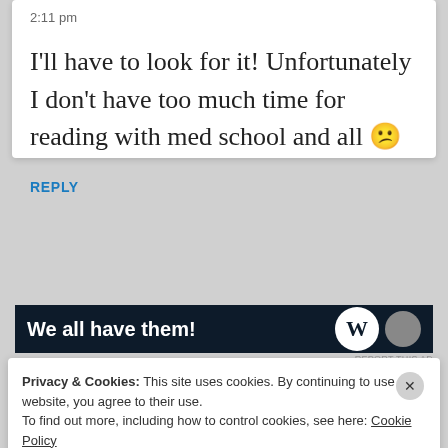2:11 pm
I'll have to look for it! Unfortunately I don't have too much time for reading with med school and all 😕
REPLY
[Figure (screenshot): Dark navy advertisement banner with bold white text 'We all have them!' and circular logos on the right]
REPORT THIS AD
Privacy & Cookies: This site uses cookies. By continuing to use this website, you agree to their use.
To find out more, including how to control cookies, see here: Cookie Policy
Close and accept